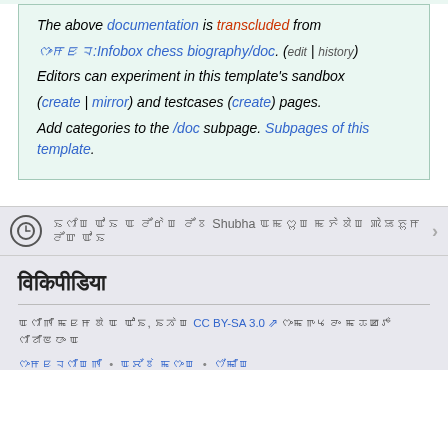The above documentation is transcluded from ~~~~:Infobox chess biography/doc. (edit | history) Editors can experiment in this template's sandbox (create | mirror) and testcases (create) pages. Add categories to the /doc subpage. Subpages of this template.
[clock icon] [Hindi text] Shubha [Hindi text] >
विकिपीडिया
[Hindi text] CC BY-SA 3.0 [Hindi text]
[Hindi links] • [Hindi links] • [Hindi links]